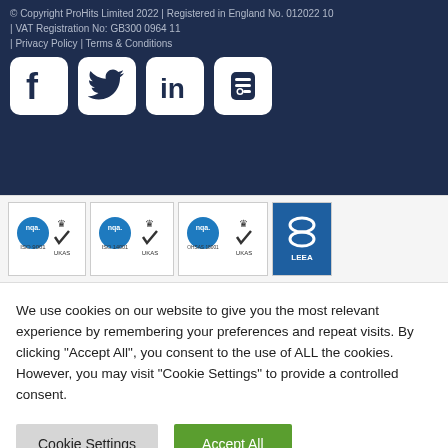© Copyright ProHits Limited 2022 | Registered in England No. 012022 10 | VAT Registration No: GB300 0964 11 | Privacy Policy | Terms & Conditions
[Figure (logo): Social media icons: Facebook, Twitter, LinkedIn, Blogger on dark navy background]
[Figure (logo): Certification badges: NQA ISO 9001 UKAS, NQA ISO 14001 UKAS, NQA OHSAS 18001 UKAS, LEEA]
We use cookies on our website to give you the most relevant experience by remembering your preferences and repeat visits. By clicking "Accept All", you consent to the use of ALL the cookies. However, you may visit "Cookie Settings" to provide a controlled consent.
Cookie Settings | Accept All